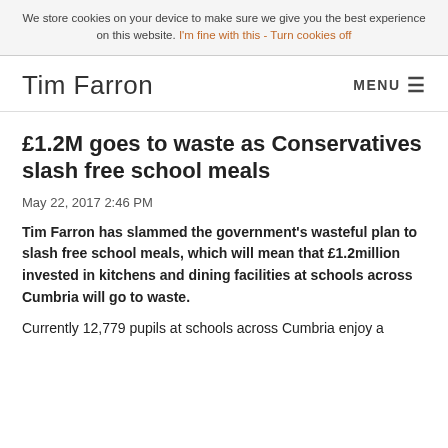We store cookies on your device to make sure we give you the best experience on this website. I'm fine with this - Turn cookies off
Tim Farron
£1.2M goes to waste as Conservatives slash free school meals
May 22, 2017 2:46 PM
Tim Farron has slammed the government's wasteful plan to slash free school meals, which will mean that £1.2million invested in kitchens and dining facilities at schools across Cumbria will go to waste.
Currently 12,779 pupils at schools across Cumbria enjoy a